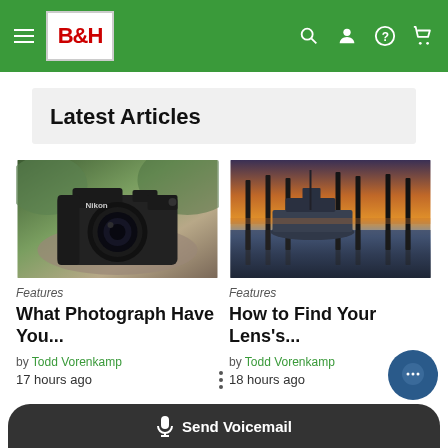B&H
Latest Articles
[Figure (photo): Nikon DSLR camera sitting on a rock outdoors with blurred green foliage background]
Features
What Photograph Have You...
by Todd Vorenkamp
17 hours ago
[Figure (photo): Boats docked at a marina at sunset with tall pilings reflecting in calm water, orange and purple sky]
Features
How to Find Your Lens's...
by Todd Vorenkamp
18 hours ago
Send Voicemail